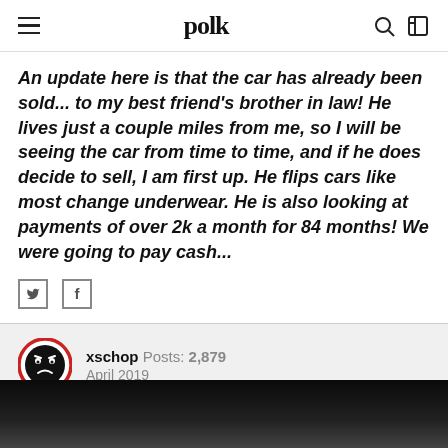polk
An update here is that the car has already been sold... to my best friend's brother in law! He lives just a couple miles from me, so I will be seeing the car from time to time, and if he does decide to sell, I am first up. He flips cars like most change underwear. He is also looking at payments of over 2k a month for 84 months! We were going to pay cash...
xschop  Posts: 2,879  April 2019
My next one will fit a turbo...or two....
[Figure (photo): Dark/black image at the bottom of the page, partially visible]